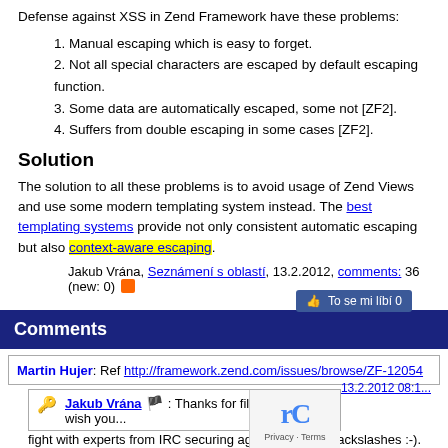Defense against XSS in Zend Framework have these problems:
1. Manual escaping which is easy to forget.
2. Not all special characters are escaped by default escaping function.
3. Some data are automatically escaped, some not [ZF2].
4. Suffers from double escaping in some cases [ZF2].
Solution
The solution to all these problems is to avoid usage of Zend Views and use some modern templating system instead. The best templating systems provide not only consistent automatic escaping but also context-aware escaping.
Jakub Vrána, Seznámení s oblastí, 13.2.2012, comments: 36 (new: 0)
Comments
Martin Hujer: Ref http://framework.zend.com/issues/browse/ZF-12054 13.2.2012 08:1...
Jakub Vrána: Thanks for filling this and I wish you... fight with experts from IRC securing against XSS by backslashes :-).